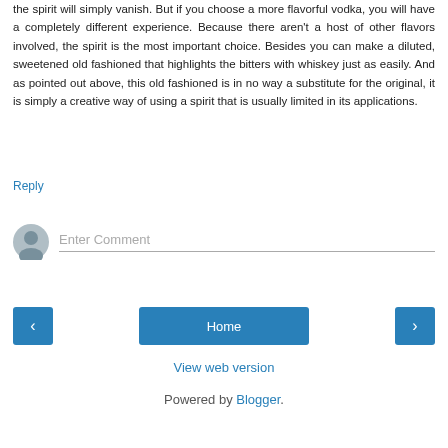the spirit will simply vanish. But if you choose a more flavorful vodka, you will have a completely different experience. Because there aren't a host of other flavors involved, the spirit is the most important choice. Besides you can make a diluted, sweetened old fashioned that highlights the bitters with whiskey just as easily. And as pointed out above, this old fashioned is in no way a substitute for the original, it is simply a creative way of using a spirit that is usually limited in its applications.
Reply
Enter Comment
Home
View web version
Powered by Blogger.